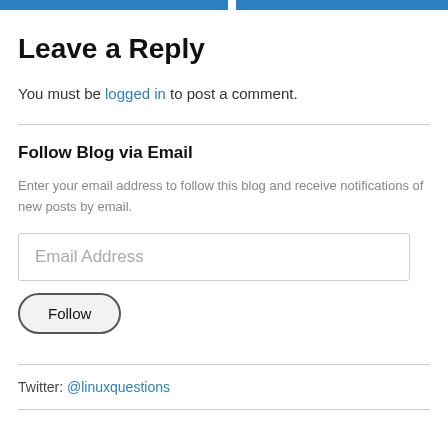Leave a Reply
You must be logged in to post a comment.
Follow Blog via Email
Enter your email address to follow this blog and receive notifications of new posts by email.
Email Address
Follow
Twitter: @linuxquestions